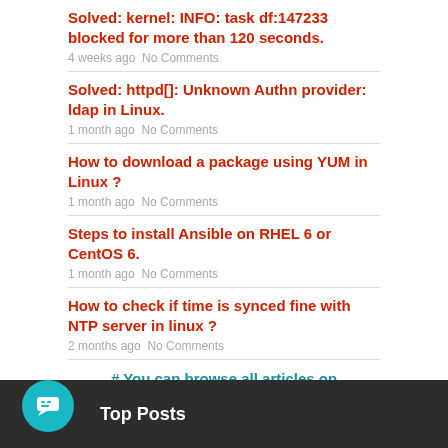Solved: kernel: INFO: task df:147233 blocked for more than 120 seconds.
4 weeks ago  No Comments
Solved: httpd[]: Unknown Authn provider: ldap in Linux.
1 month ago  No Comments
How to download a package using YUM in Linux ?
1 month ago  No Comments
Steps to install Ansible on RHEL 6 or CentOS 6.
1 month ago  No Comments
How to check if time is synced fine with NTP server in linux ?
2 months ago  No Comments
# You can browse all articles on NGELinux.com from here. #
Top Posts